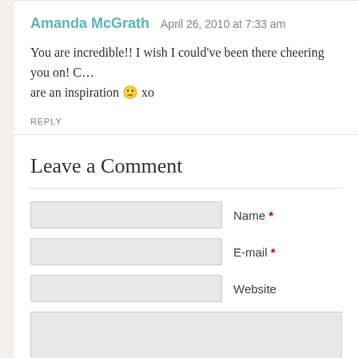Amanda McGrath   April 26, 2010 at 7:33 am
You are incredible!! I wish I could've been there cheering you on! … are an inspiration 🙂 xo
REPLY
Leave a Comment
Name *
E-mail *
Website